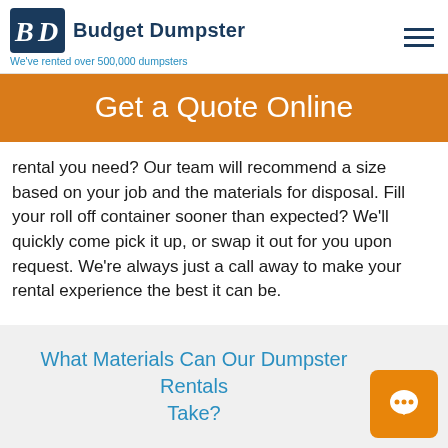Budget Dumpster — We've rented over 500,000 dumpsters
Get a Quote Online
rental you need? Our team will recommend a size based on your job and the materials for disposal. Fill your roll off container sooner than expected? We'll quickly come pick it up, or swap it out for you upon request. We're always just a call away to make your rental experience the best it can be.
What Materials Can Our Dumpster Rentals Take?